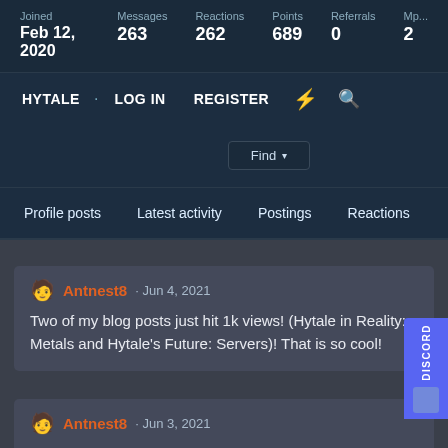| Joined | Messages | Reactions | Points | Referrals | Mp... |
| --- | --- | --- | --- | --- | --- |
| Feb 12, 2020 | 263 | 262 | 689 | 0 | 2 |
HYTALE · LOG IN   REGISTER   ⚡  🔍
Find ▾
Profile posts   Latest activity   Postings   Reactions
Antnest8 · Jun 4, 2021
Two of my blog posts just hit 1k views! (Hytale in Reality: Metals and Hytale's Future: Servers)! That is so cool!
Antnest8 · Jun 3, 2021
Cool new article about Hytale